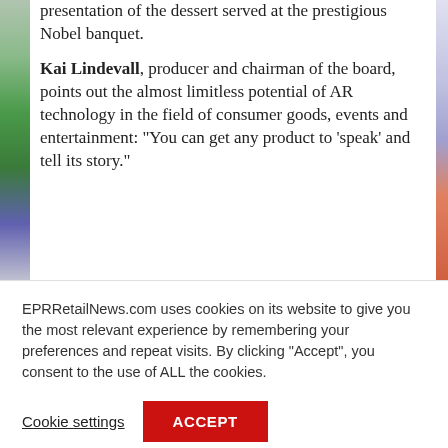presentation of the dessert served at the prestigious Nobel banquet.
Kai Lindevall, producer and chairman of the board, points out the almost limitless potential of AR technology in the field of consumer goods, events and entertainment: “You can get any product to ‘speak’ and tell its story.”
EPRRetailNews.com uses cookies on its website to give you the most relevant experience by remembering your preferences and repeat visits. By clicking “Accept”, you consent to the use of ALL the cookies.
Cookie settings
ACCEPT